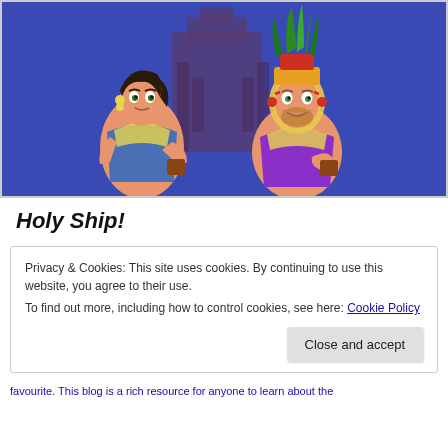[Figure (illustration): Two animated cartoon characters from 'The Road to El Dorado' standing together against a blue background with a temple structure. Left character has dark hair, yellow earrings, wearing a blue and yellow outfit holding a brown cup. Right character has blonde hair and beard, wearing a red/gold headdress with green feathers, purple and yellow outfit, also holding a brown cup.]
Holy Ship!
Privacy & Cookies: This site uses cookies. By continuing to use this website, you agree to their use.
To find out more, including how to control cookies, see here: Cookie Policy
Close and accept
favourite. This blog is a rich resource for anyone to learn about the